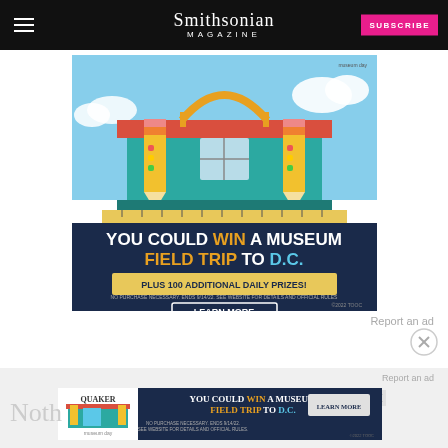Smithsonian MAGAZINE
[Figure (illustration): Museum Day promotional ad: colorful illustrated museum building with pencils and rulers, text 'YOU COULD WIN A MUSEUM FIELD TRIP TO D.C. PLUS 100 ADDITIONAL DAILY PRIZES! LEARN MORE']
Report an ad
[Figure (illustration): Quaker / Museum Day banner ad: 'YOU COULD WIN A MUSEUM FIELD TRIP TO D.C.' with museum illustration and LEARN MORE button]
Report an ad
Noth